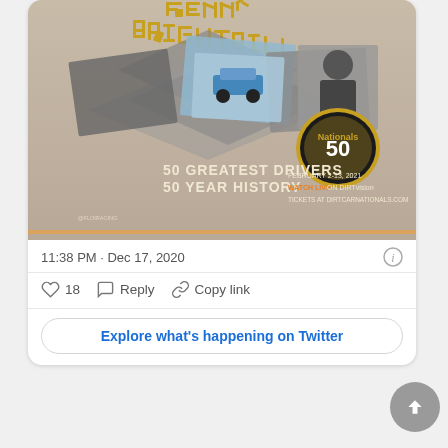[Figure (screenshot): A promotional image for the DIRTcar Nationals 50th anniversary featuring '50 Greatest Drivers, 50 Year History', February 2-13, 2021, Watch Live on DIRTvision, Tickets at DirtcarNationals.com. Text 'KENNY BRIGHTBILL' visible at top. Racing cars and driver photos in diamond shapes on background.]
11:38 PM · Dec 17, 2020
18  Reply  Copy link
Explore what's happening on Twitter